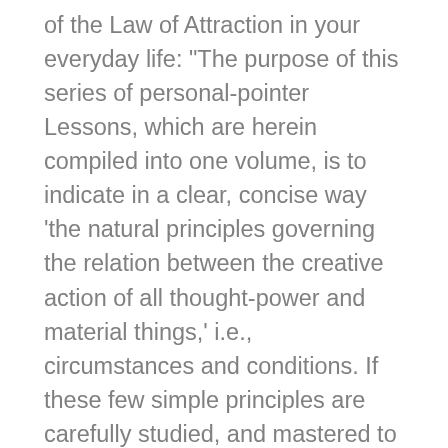of the Law of Attraction in your everyday life: "The purpose of this series of personal-pointer Lessons, which are herein compiled into one volume, is to indicate in a clear, concise way 'the natural principles governing the relation between the creative action of all thought-power and material things,' i.e., circumstances and conditions. If these few simple principles are carefully studied, and mastered to your satisfaction, and then put into practical, hourly application, the student will find very soon that it is possible To Live Life and Love It!"--Genevieve Behrend In Life Power and How to Use It, Elizabeth Towne shows you how to use the Laws of Attraction in everyday life to improve every facet of your life. This books forms part of the foundation that today's best-selling books such as